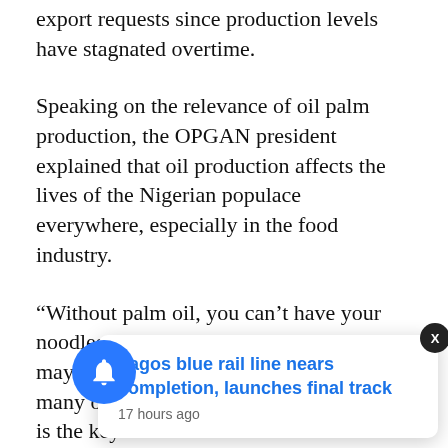export requests since production levels have stagnated overtime.
Speaking on the relevance of oil palm production, the OPGAN president explained that oil production affects the lives of the Nigerian populace everywhere, especially in the food industry.
“Without palm oil, you can’t have your noodles, pasta, soap, margarine, mayonnaise, chocolate, toothpaste and many others in the food industry. Oil palm is the key because more than 40 items are produced from it, and so when you talk about food security in the world, oil palm remains key,” he stated.
According to Or... unorganised sm... remain... production levels.
Lagos blue rail line nears completion, launches final track
17 hours ago